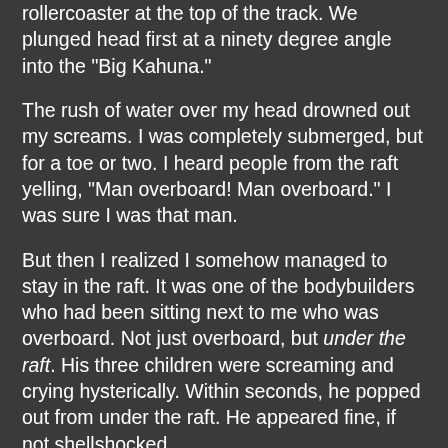rollercoaster at the top of the track. We plunged head first at a ninety degree angle into the "Big Kahuna."
The rush of water over my head drowned out my screams. I was completely submerged, but for a toe or two. I heard people from the raft yelling, "Man overboard! Man overboard." I was sure I was that man.
But then I realized I somehow managed to stay in the raft. It was one of the bodybuilders who had been sitting next to me who was overboard. Not just overboard, but under the raft. His three children were screaming and crying hysterically. Within seconds, he popped out from under the raft. He appeared fine, if not shellshocked.
"Thumbs up?" yelled our river guide. "Give the thumbs up if you're okay," he instructed.
The children on our raft were inconsolable.
"GIVE THE THUMBS UP!" Little Nell hollered furiously.